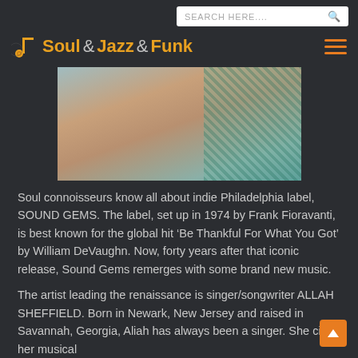SEARCH HERE....
Soul&Jazz&Funk
[Figure (photo): A woman in a dark sleeveless outfit with a teal/green patterned design element, seated or leaning, showing arms and legs, with a blurred background.]
Soul connoisseurs know all about indie Philadelphia label, SOUND GEMS. The label, set up in 1974 by Frank Fioravanti, is best known for the global hit ‘Be Thankful For What You Got’ by William DeVaughn. Now, forty years after that iconic release, Sound Gems remerges with some brand new music.
The artist leading the renaissance is singer/songwriter ALLAH SHEFFIELD. Born in Newark, New Jersey and raised in Savannah, Georgia, Aliah has always been a singer. She cites her musical